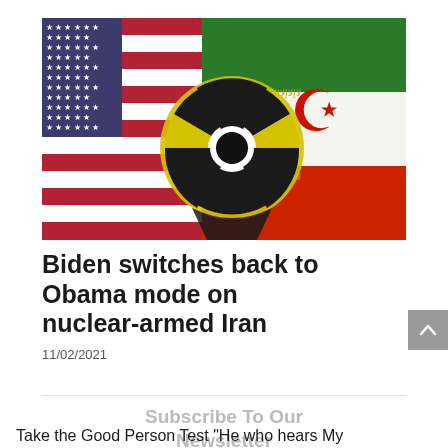[Figure (illustration): Composite image of US flag and Iranian flag with nuclear radiation symbol overlaid on top, blending into green-yellow-red gradient colors representing Iran. The nuclear symbol is black/dark centered on the image. Iranian emblem (red tulip/sword symbol) visible on right side. Persian script decorative border visible on the Iranian flag portion.]
Biden switches back to Obama mode on nuclear-armed Iran
11/02/2021
Subscribe To Our Newsletter
Take the Good Person Test "He who hears My